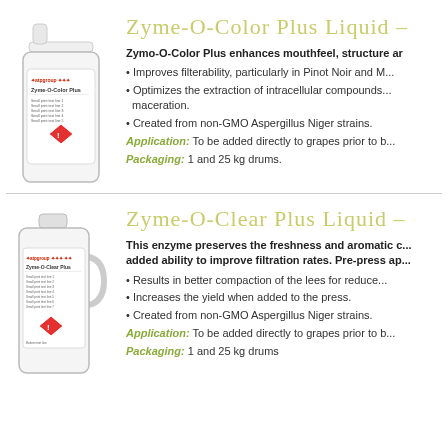[Figure (photo): White bottle with Zyme-O-Color Plus label and atpgroup logo, hazard symbol]
Zyme-O-Color Plus Liquid –
Zymo-O-Color Plus enhances mouthfeel, structure and...
Improves filterability, particularly in Pinot Noir and M...
Optimizes the extraction of intracellular compounds... maceration.
Created from non-GMO Aspergillus Niger strains.
Application: To be added directly to grapes prior to b...
Packaging: 1 and 25 kg drums.
[Figure (photo): White jug container with Zyme-O-Clear Plus label and atpgroup logo, hazard symbol]
Zyme-O-Clear Plus Liquid –
This enzyme preserves the freshness and aromatic c... added ability to improve filtration rates. Pre-press ap...
Results in better compaction of the lees for reduce...
Increases the yield when added to the press.
Created from non-GMO Aspergillus Niger strains.
Application: To be added directly to grapes prior to b...
Packaging: 1 and 25 kg drums